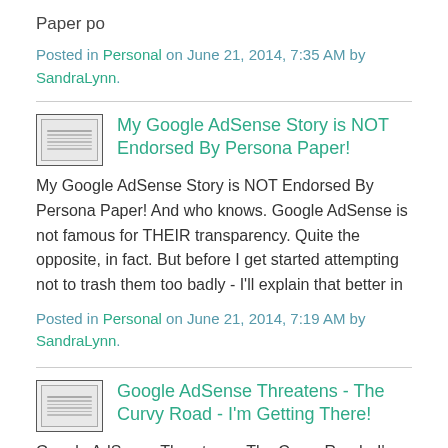Paper po
Posted in Personal on June 21, 2014, 7:35 AM by SandraLynn.
[Figure (other): Thumbnail image of article with small text lines]
My Google AdSense Story is NOT Endorsed By Persona Paper!
My Google AdSense Story is NOT Endorsed By Persona Paper! And who knows. Google AdSense is not famous for THEIR transparency. Quite the opposite, in fact. But before I get started attempting not to trash them too badly - I'll explain that better in
Posted in Personal on June 21, 2014, 7:19 AM by SandraLynn.
[Figure (other): Thumbnail image of article with small text lines]
Google AdSense Threatens - The Curvy Road - I'm Getting There!
Google AdSense Threatens - The Curvy Road - I'm Getting There! And now Google AdSense was Getting There! And now Google AdSense was